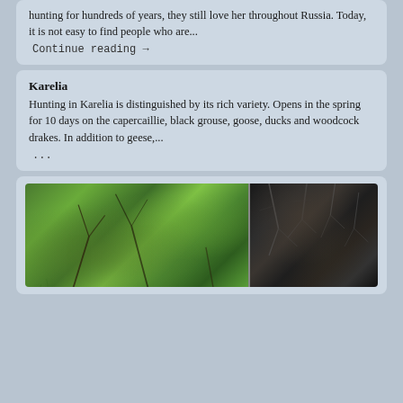hunting for hundreds of years, they still love her throughout Russia. Today, it is not easy to find people who are...
Continue reading →
Karelia
Hunting in Karelia is distinguished by its rich variety. Opens in the spring for 10 days on the capercaillie, black grouse, goose, ducks and woodcock drakes. In addition to geese,...
...
[Figure (photo): A nature/outdoor photo split into two panels: left panel shows green vegetation, grass, and branches in daylight; right panel shows dark bare branches/twigs against a dark background.]